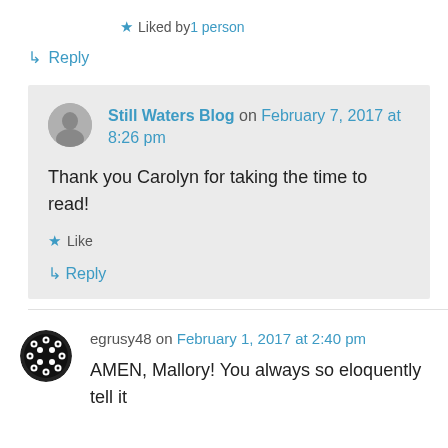★ Liked by 1 person
↳ Reply
Still Waters Blog on February 7, 2017 at 8:26 pm
Thank you Carolyn for taking the time to read!
★ Like
↳ Reply
egrusy48 on February 1, 2017 at 2:40 pm
AMEN, Mallory! You always so eloquently tell it